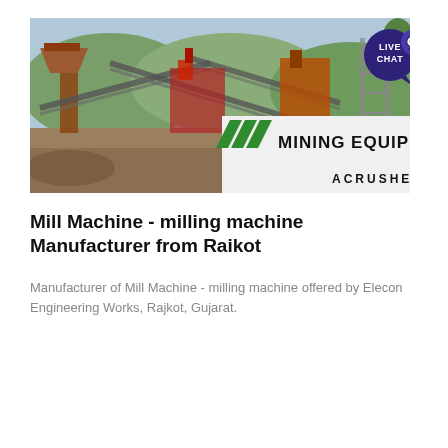[Figure (photo): Photograph of a mining equipment / crusher facility with industrial machinery, conveyor belts, and open-pit mining site. Overlaid in the bottom-right corner is a white panel with 'MINING EQUIPMENT ACRUSHER' branding and green diagonal slash marks. A 'LIVE CHAT' speech bubble badge appears at the top-right.]
Mill Machine - milling machine Manufacturer from Raikot
Manufacturer of Mill Machine - milling machine offered by Elecon Engineering Works, Rajkot, Gujarat.